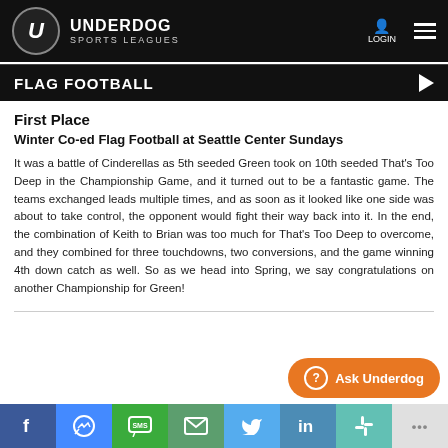UNDERDOG SPORTS LEAGUES
FLAG FOOTBALL
First Place
Winter Co-ed Flag Football at Seattle Center Sundays
It was a battle of Cinderellas as 5th seeded Green took on 10th seeded That's Too Deep in the Championship Game, and it turned out to be a fantastic game. The teams exchanged leads multiple times, and as soon as it looked like one side was about to take control, the opponent would fight their way back into it. In the end, the combination of Keith to Brian was too much for That's Too Deep to overcome, and they combined for three touchdowns, two conversions, and the game winning 4th down catch as well. So as we head into Spring, we say congratulations on another Championship for Green!
Facebook | Messenger | SMS | Mail | Twitter | LinkedIn | Slack | More